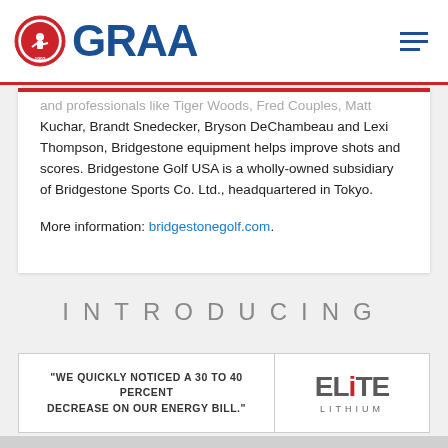GRAA
and professionals like Tiger Woods, Fred Couples, Matt Kuchar, Brandt Snedecker, Bryson DeChambeau and Lexi Thompson, Bridgestone equipment helps improve shots and scores. Bridgestone Golf USA is a wholly-owned subsidiary of Bridgestone Sports Co. Ltd., headquartered in Tokyo.

More information: bridgestonegolf.com.
INTRODUCING
[Figure (other): Elite Lithium advertisement banner with quote: "WE QUICKLY NOTICED A 30 TO 40 PERCENT DECREASE ON OUR ENERGY BILL." and Elite Lithium logo on the right]